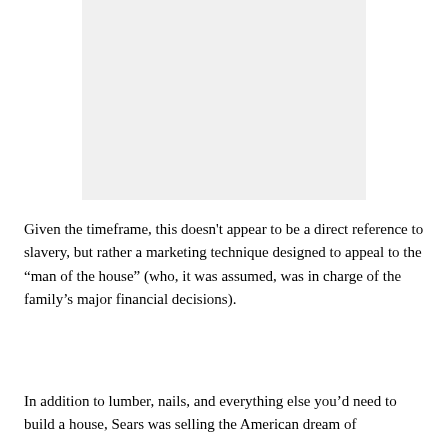[Figure (other): A light gray rectangular image placeholder occupying the upper portion of the page.]
Given the timeframe, this doesn't appear to be a direct reference to slavery, but rather a marketing technique designed to appeal to the “man of the house” (who, it was assumed, was in charge of the family’s major financial decisions).
In addition to lumber, nails, and everything else you’d need to build a house, Sears was selling the American dream of